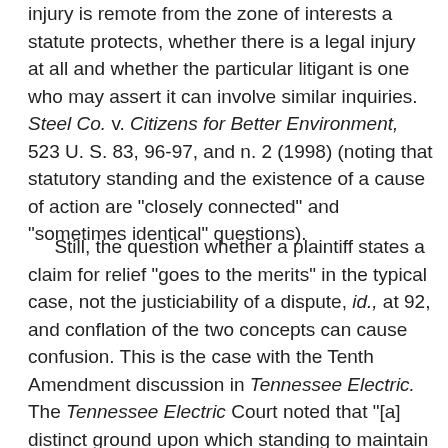injury is remote from the zone of interests a statute protects, whether there is a legal injury at all and whether the particular litigant is one who may assert it can involve similar inquiries. Steel Co. v. Citizens for Better Environment, 523 U. S. 83, 96-97, and n. 2 (1998) (noting that statutory standing and the existence of a cause of action are "closely connected" and "sometimes identical" questions).
Still, the question whether a plaintiff states a claim for relief "goes to the merits" in the typical case, not the justiciability of a dispute, id., at 92, and conflation of the two concepts can cause confusion. This is the case with the Tenth Amendment discussion in Tennessee Electric. The Tennessee Electric Court noted that "[a] distinct ground upon which standing to maintain the suit is said to rest is that the acts of the Authority cannot be upheld without permitting federal regulation of purely local matters reserved to the states or the people by the Tenth Amendment." 306 U. S., at